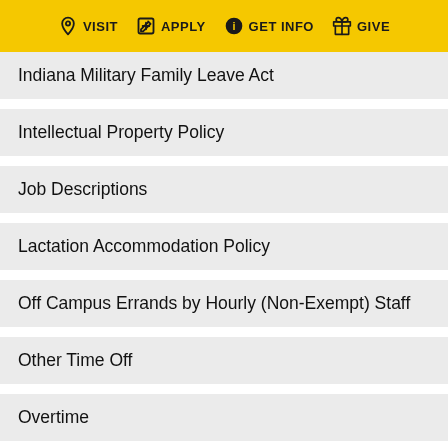VISIT  APPLY  GET INFO  GIVE
Indiana Military Family Leave Act
Intellectual Property Policy
Job Descriptions
Lactation Accommodation Policy
Off Campus Errands by Hourly (Non-Exempt) Staff
Other Time Off
Overtime
Parental Leave